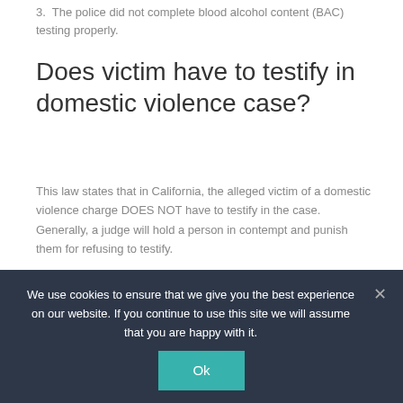3. The police did not complete blood alcohol content (BAC) testing properly.
Does victim have to testify in domestic violence case?
This law states that in California, the alleged victim of a domestic violence charge DOES NOT have to testify in the case. Generally, a judge will hold a person in contempt and punish them for refusing to testify.
How do you convince a judge to drop a no contact order?
We use cookies to ensure that we give you the best experience on our website. If you continue to use this site we will assume that you are happy with it.